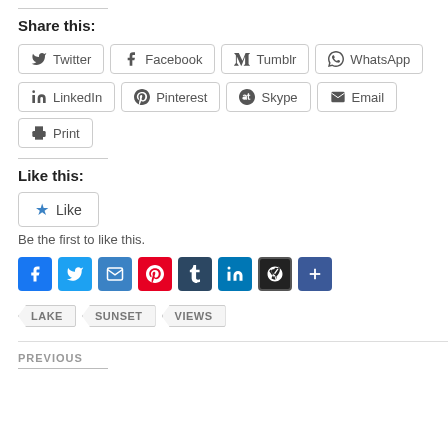Share this:
[Figure (screenshot): Social share buttons row 1: Twitter, Facebook, Tumblr, WhatsApp]
[Figure (screenshot): Social share buttons row 2: LinkedIn, Pinterest, Skype, Email, Print]
Like this:
[Figure (screenshot): Like button widget with star icon]
Be the first to like this.
[Figure (screenshot): Colored social media icon buttons: Facebook, Twitter, Email, Pinterest, Tumblr, LinkedIn, WordPress, Share/Plus]
LAKE
SUNSET
VIEWS
PREVIOUS